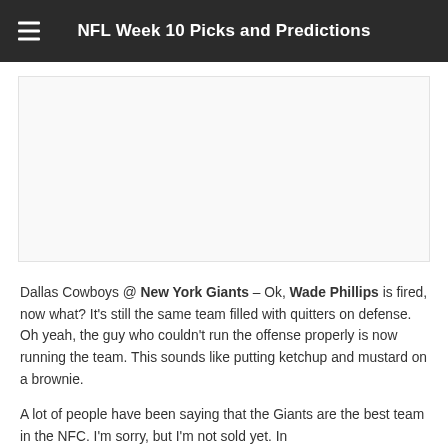NFL Week 10 Picks and Predictions
[Figure (other): Advertisement placeholder / white rectangular ad unit]
Dallas Cowboys @ New York Giants – Ok, Wade Phillips is fired, now what? It's still the same team filled with quitters on defense. Oh yeah, the guy who couldn't run the offense properly is now running the team. This sounds like putting ketchup and mustard on a brownie.
A lot of people have been saying that the Giants are the best team in the NFC. I'm sorry, but I'm not sold yet. In